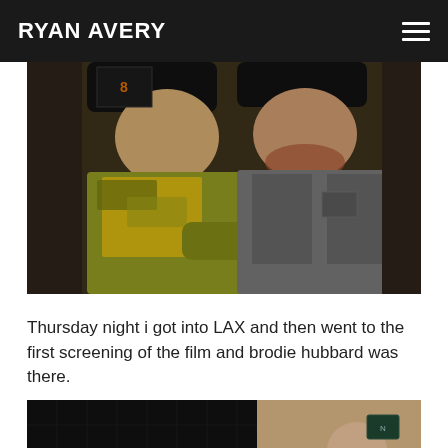RYAN AVERY
[Figure (photo): Two men posing together indoors. Left person wearing a yellow t-shirt and argyle green/yellow sweater, wearing a dark beanie. Right person wearing a grey/olive jacket with reddish beard.]
Thursday night i got into LAX and then went to the first screening of the film and brodie hubbard was there.
[Figure (photo): Partial photo at bottom of page showing a dark tiled wall on left half and a person on the right side near a sign.]